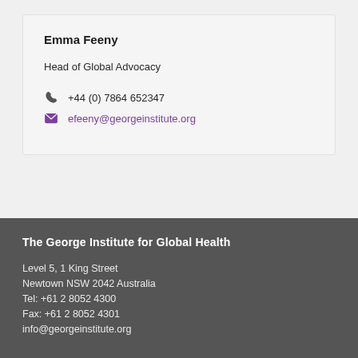Emma Feeny
Head of Global Advocacy
+44 (0) 7864 652347
efeeny@georgeinstitute.org
The George Institute for Global Health
Level 5, 1 King Street
Newtown NSW 2042 Australia
Tel: +61 2 8052 4300
Fax: +61 2 8052 4301
info@georgeinstitute.org